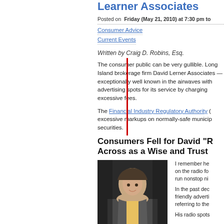Learner Associates
Posted on  Friday (May 21, 2010) at 7:30 pm to
Consumer Advice
Current Events
Written by Craig D. Robins, Esq.
The consumer public can be very gullible. Long Island brokerage firm David Lerner Associates — exceptionally well known in the airwaves with advertising spots for its service by charging excessive fees.
The Financial Industry Regulatory Authority ( excessive markups on normally-safe municip securities.
Consumers Fell for David “R Across as a Wise and Trust
[Figure (photo): Photo of a smiling man in a suit with yellow tie, waving]
I remember he on the radio fo run nonstop ni
In the past dec friendly adverti referring to the
His radio spots